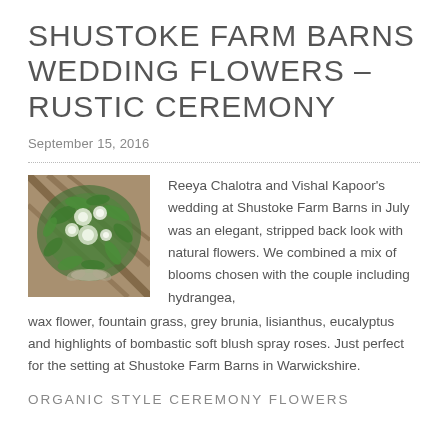SHUSTOKE FARM BARNS WEDDING FLOWERS – RUSTIC CEREMONY
September 15, 2016
[Figure (photo): Photograph of a floral arrangement with greenery and white flowers at Shustoke Farm Barns, showing a rustic barn interior with diagonal timber beams in the background.]
Reeya Chalotra and Vishal Kapoor's wedding at Shustoke Farm Barns in July was an elegant, stripped back look with natural flowers. We combined a mix of blooms chosen with the couple including  hydrangea, wax flower, fountain grass, grey brunia, lisianthus, eucalyptus and highlights of bombastic soft blush spray roses. Just perfect for the setting at Shustoke Farm Barns in Warwickshire.
ORGANIC STYLE CEREMONY FLOWERS